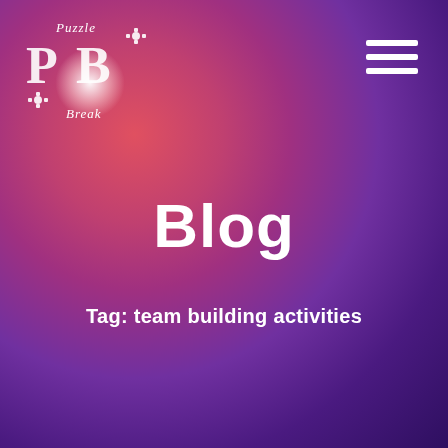[Figure (logo): Puzzle Break logo with puzzle piece letters PB and text 'Puzzle Break' on a gradient purple-red background]
Blog
Tag: team building activities